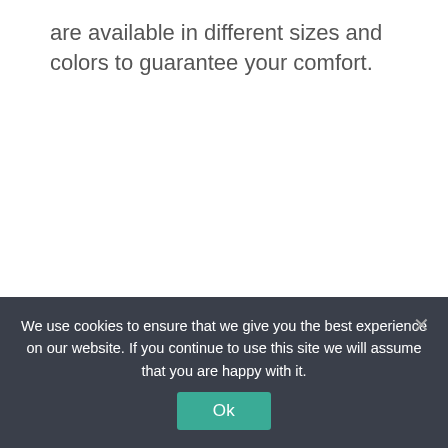are available in different sizes and colors to guarantee your comfort.
16.00€ 14.00€
SKU: 0144 / Categoría: GORRAS, BOINAS Y
We use cookies to ensure that we give you the best experience on our website. If you continue to use this site we will assume that you are happy with it.